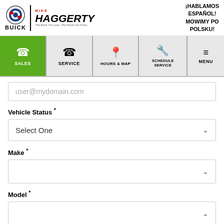[Figure (logo): Buick logo with shield emblem and BUICK text below]
[Figure (logo): Mike Haggerty dealership logo with red MIKE above HAGGERTY in bold italic]
¡HABLAMOS ESPAÑOL! MOWIMY PO POLSKU!
[Figure (screenshot): Navigation bar with SALES (green active), SERVICE, HOURS & MAP, SCHEDULE SERVICE, MENU]
user@mydomain.com
Vehicle Status *
Select One
Make *
Model *
Trim